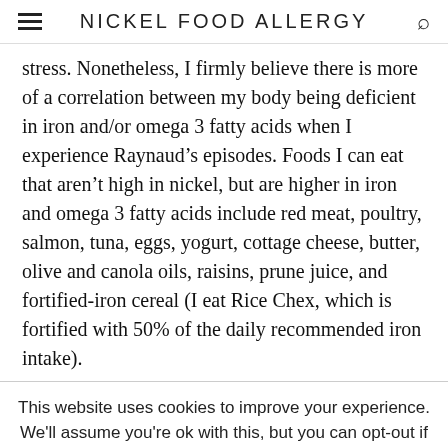NICKEL FOOD ALLERGY
stress. Nonetheless, I firmly believe there is more of a correlation between my body being deficient in iron and/or omega 3 fatty acids when I experience Raynaud’s episodes. Foods I can eat that aren’t high in nickel, but are higher in iron and omega 3 fatty acids include red meat, poultry, salmon, tuna, eggs, yogurt, cottage cheese, butter, olive and canola oils, raisins, prune juice, and fortified-iron cereal (I eat Rice Chex, which is fortified with 50% of the daily recommended iron intake).
This website uses cookies to improve your experience. We’ll assume you’re ok with this, but you can opt-out if you wish. Cookie settings ACCEPT